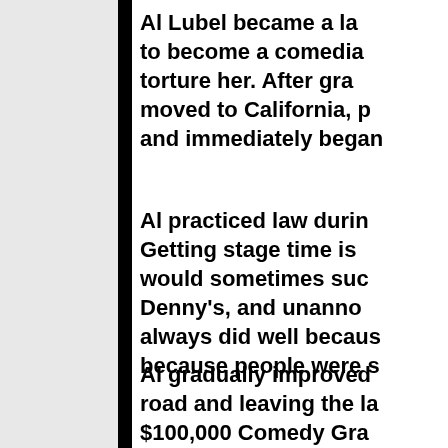Al Lubel became a la to become a comedia torture her. After gra moved to California, p and immediately began
Al practiced law durin Getting stage time is would sometimes suc Denny's, and unanno always did well becaus because people were s
Al gradually improved road and leaving the la $100,000 Comedy Gra Tonight Show was auditioned and becam